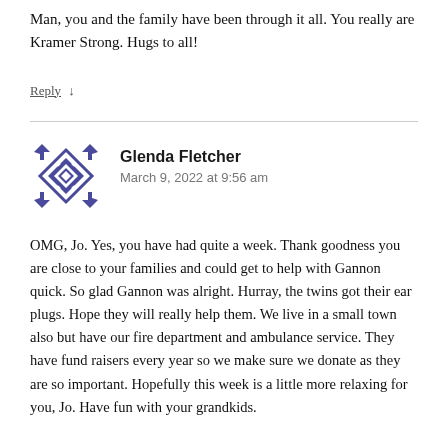Man, you and the family have been through it all. You really are Kramer Strong. Hugs to all!
Reply ↓
[Figure (illustration): Avatat icon — a purple/dark blue geometric diamond pattern with arrows pointing outward at corners]
Glenda Fletcher
March 9, 2022 at 9:56 am
OMG, Jo. Yes, you have had quite a week. Thank goodness you are close to your families and could get to help with Gannon quick. So glad Gannon was alright. Hurray, the twins got their ear plugs. Hope they will really help them. We live in a small town also but have our fire department and ambulance service. They have fund raisers every year so we make sure we donate as they are so important. Hopefully this week is a little more relaxing for you, Jo. Have fun with your grandkids.